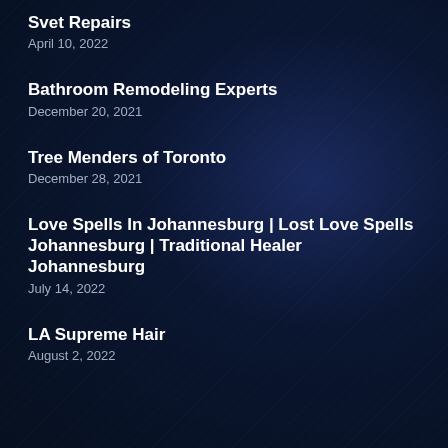Svet Repairs
April 10, 2022
Bathroom Remodeling Experts
December 20, 2021
Tree Menders of Toronto
December 28, 2021
Love Spells In Johannesburg | Lost Love Spells Johannesburg | Traditional Healer Johannesburg
July 14, 2022
LA Supreme Hair
August 2, 2022